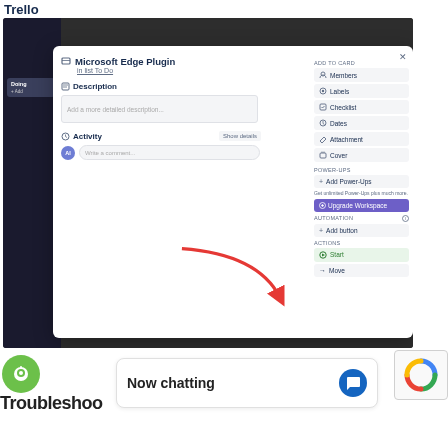Trello
[Figure (screenshot): Screenshot of a Trello card dialog for 'Microsoft Edge Plugin' showing Description, Activity sections on the left and ADD TO CARD sidebar on the right with Members, Labels, Checklist, Dates, Attachment, Cover options, POWER-UPS section with Add Power-Ups and Upgrade Workspace, AUTOMATION section with Add button, and ACTIONS section with Start and Move options. A red arrow points to the ACTIONS section.]
[Figure (screenshot): Bottom portion showing Trello troubleshooter logo (green circle with lightbulb icon) and 'Troubleshoo...' text, a chat bubble saying 'Now chatting' with chat icon, and a reCAPTCHA widget partially visible.]